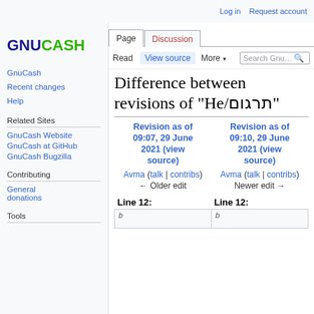Log in   Request account
[Figure (logo): GnuCash logo text: GNU in dark blue bold, CASH in green bold]
GnuCash
Recent changes
Help
Related Sites
GnuCash Website
GnuCash at GitHub
GnuCash Bugzilla
Contributing
General donations
Tools
Difference between revisions of "He/תרגום"
| Revision as of 09:07, 29 June 2021 (view source) | Revision as of 09:10, 29 June 2021 (view source) |
| --- | --- |
| Avma (talk | contribs) | Avma (talk | contribs) |
| ← Older edit | Newer edit → |
Line 12:
Line 12: